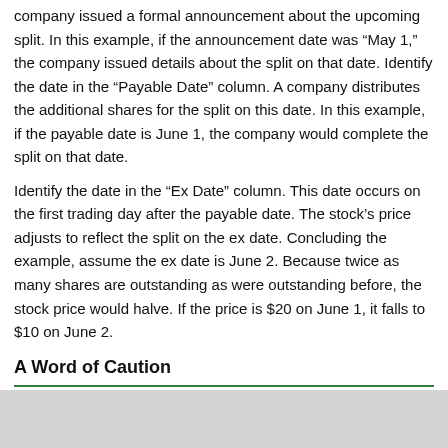company issued a formal announcement about the upcoming split. In this example, if the announcement date was “May 1,” the company issued details about the split on that date. Identify the date in the “Payable Date” column. A company distributes the additional shares for the split on this date. In this example, if the payable date is June 1, the company would complete the split on that date.
Identify the date in the “Ex Date” column. This date occurs on the first trading day after the payable date. The stock’s price adjusts to reflect the split on the ex date. Concluding the example, assume the ex date is June 2. Because twice as many shares are outstanding as were outstanding before, the stock price would halve. If the price is $20 on June 1, it falls to $10 on June 2.
A Word of Caution
An upcoming split doesn’t necessarily make a stock a good investment. Always check a company’s financial information before investing.